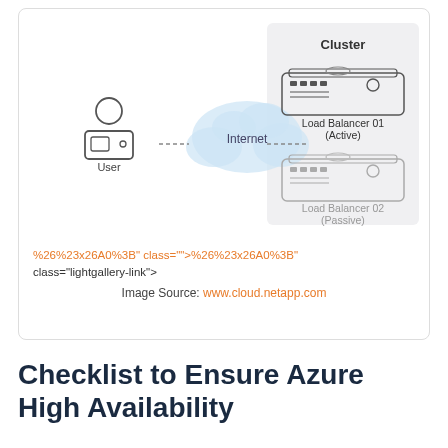[Figure (network-graph): Network diagram showing a User connected via dashed line to the Internet (cloud), then via dashed line to a Cluster box containing Load Balancer 01 (Active) and Load Balancer 02 (Passive) stacked vertically.]
%26%23x26A0%3B" class="">%26%23x26A0%3B" class="lightgallery-link"> Image Source: www.cloud.netapp.com
Checklist to Ensure Azure High Availability